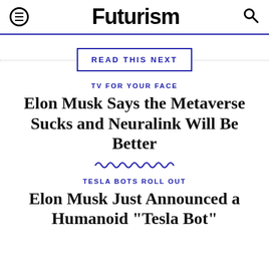Futurism
READ THIS NEXT
TV FOR YOUR FACE
Elon Musk Says the Metaverse Sucks and Neuralink Will Be Better
TESLA BOTS ROLL OUT
Elon Musk Just Announced a Humanoid "Tesla Bot"